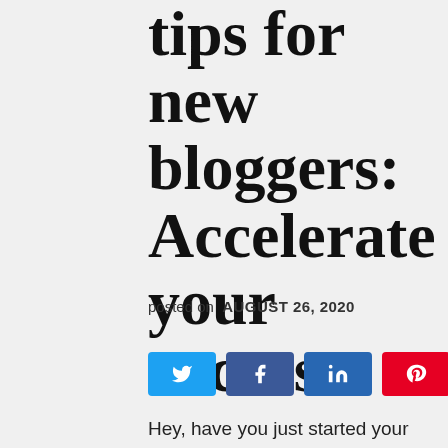tips for new bloggers: Accelerate your success
posted on AUGUST 26, 2020
[Figure (infographic): Social share buttons: Twitter (blue), Facebook (blue), LinkedIn (dark blue), Pinterest (red), and a share count showing 48 SHARES]
Hey, have you just started your blog or thinking of creating one? I know there are so many things that you have to do